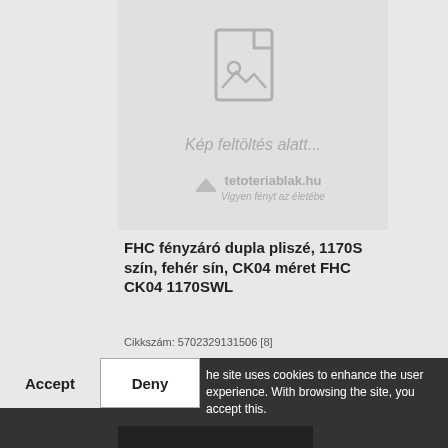[Figure (illustration): Product image placeholder showing a generic image icon with text 'Kép feltöltés alatt...' and tetoteriablak.hu logo/tagline 'Vigyen fényt az életébe' on a light grey background.]
FHC fényzáró dupla pliszé, 1170S szín, fehér sín, CK04 méret FHC CK04 1170SWL
Cikkszám: 5702329131506 [8]
32 242 Ft
The site uses cookies to enhance the user experience. With browsing the site, you accept this.